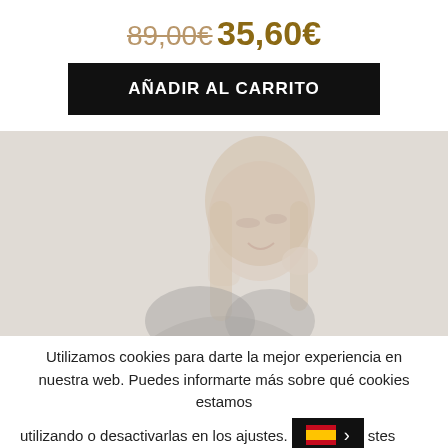89,00€  35,60€
AÑADIR AL CARRITO
[Figure (photo): Photo of a smiling woman with long hair, wearing a black lace top, hand near face, faded/washed out appearance]
Utilizamos cookies para darte la mejor experiencia en nuestra web. Puedes informarte más sobre qué cookies estamos utilizando o desactivarlas en los ajustes.
istes